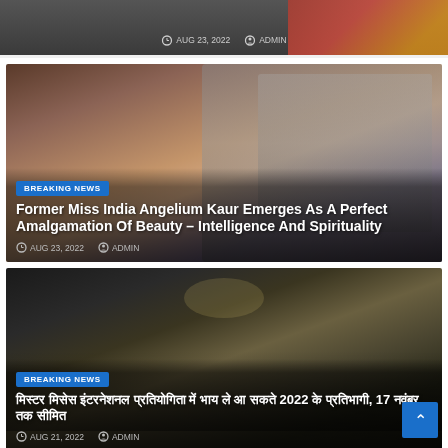[Figure (photo): Partial top card showing date and admin meta, cropped news card]
AUG 23, 2022  ADMIN
[Figure (photo): Photo of woman with red hair in car, news card overlay with BREAKING NEWS badge]
BREAKING NEWS
Former Miss India Angelium Kaur Emerges As A Perfect Amalgamation Of Beauty – Intelligence And Spirituality
AUG 23, 2022  ADMIN
[Figure (photo): Photo of group of people at event backdrop with Mr. Miss Mrs. logo, news card with BREAKING NEWS badge and Hindi headline]
BREAKING NEWS
Hindi text headline about 2022 event, 17 participants
AUG 21, 2022  ADMIN